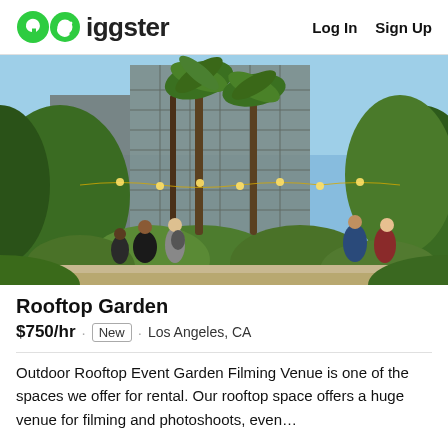Giggster  Log In  Sign Up
[Figure (photo): Outdoor rooftop garden venue in Los Angeles with lush green plants, palm trees, string lights, and city buildings in the background. Several people are visible walking and standing in the garden space.]
Rooftop Garden
$750/hr · New · Los Angeles, CA
Outdoor Rooftop Event Garden Filming Venue is one of the spaces we offer for rental. Our rooftop space offers a huge venue for filming and photoshoots, even...